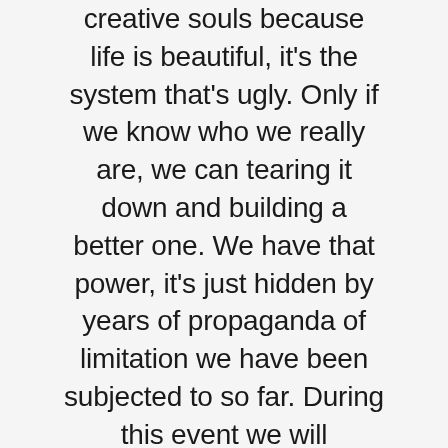creative souls because life is beautiful, it's the system that's ugly. Only if we know who we really are, we can tearing it down and building a better one. We have that power, it's just hidden by years of propaganda of limitation we have been subjected to so far. During this event we will